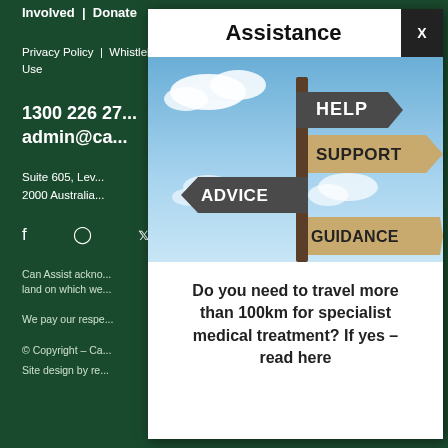Involved | Donate
Privacy Policy | Whistleblower Policy | Terms of Use
1300 226 27...
admin@ca...
Suite 605, Lev...
2000 Australia...
Social icons: f, instagram, twitter, linkedin
Can Assist ackno... land on which we...
We pay our respe...
© Copyright – Ca...
Site design by re...
Assistance
[Figure (photo): A wooden signpost with directional signs reading HELP, SUPPORT, ADVICE, GUIDANCE against a blue sky with clouds]
Do you need to travel more than 100km for specialist medical treatment? If yes – read here